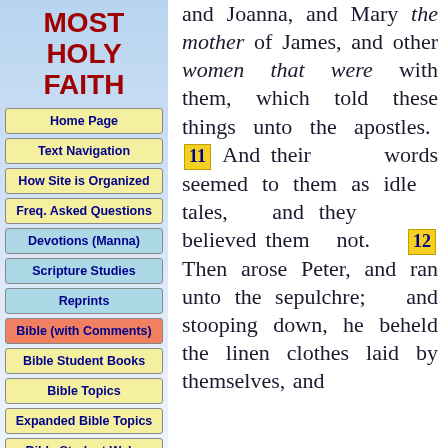MOST HOLY FAITH
Home Page
Text Navigation
How Site is Organized
Freq. Asked Questions
Devotions (Manna)
Scripture Studies
Reprints
Bible (with Comments)
Bible Student Books
Bible Topics
Expanded Bible Topics
Bible Student Webs
Miscellaneous
and Joanna, and Mary the mother of James, and other women that were with them, which told these things unto the apostles. 11 And their words seemed to them as idle tales, and they believed them not. 12 Then arose Peter, and ran unto the sepulchre; and stooping down, he beheld the linen clothes laid by themselves, and